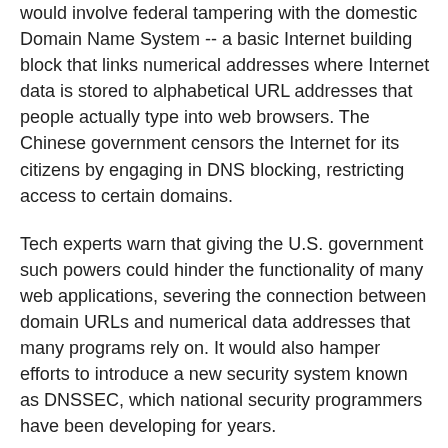would involve federal tampering with the domestic Domain Name System -- a basic Internet building block that links numerical addresses where Internet data is stored to alphabetical URL addresses that people actually type into web browsers. The Chinese government censors the Internet for its citizens by engaging in DNS blocking, restricting access to certain domains.
Tech experts warn that giving the U.S. government such powers could hinder the functionality of many web applications, severing the connection between domain URLs and numerical data addresses that many programs rely on. It would also hamper efforts to introduce a new security system known as DNSSEC, which national security programmers have been developing for years.
"The Act would allow the government to break the Internet addressing system," wrote 108 law